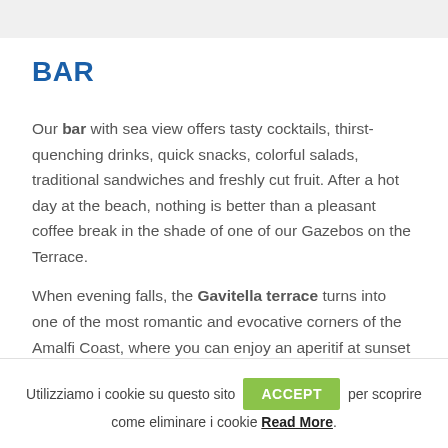BAR
Our bar with sea view offers tasty cocktails, thirst-quenching drinks, quick snacks, colorful salads, traditional sandwiches and freshly cut fruit. After a hot day at the beach, nothing is better than a pleasant coffee break in the shade of one of our Gazebos on the Terrace.
When evening falls, the Gavitella terrace turns into one of the most romantic and evocative corners of the Amalfi Coast, where you can enjoy an aperitif at sunset or for an
Utilizziamo i cookie su questo sito ACCEPT per scoprire come eliminare i cookie Read More.